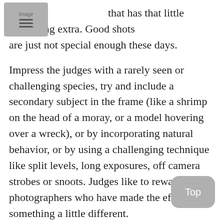image that has that little something extra. Good shots are just not special enough these days.
Impress the judges with a rarely seen or challenging species, try and include a secondary subject in the frame (like a shrimp on the head of a moray, or a model hovering over a wreck), or by incorporating natural behavior, or by using a challenging technique like split levels, long exposures, off camera strobes or snoots. Judges like to reward photographers who have made the effort to do something a little different.
3. NO PHOTOCOPYING. It is important to look at the winners from other competitions to get an impression of the standard and the types of images that do well. But submitting a carbon copy of a well known shot never brings success. Even if you took it first! The impact has been lost. Also avoid entering duplicates of celebrated